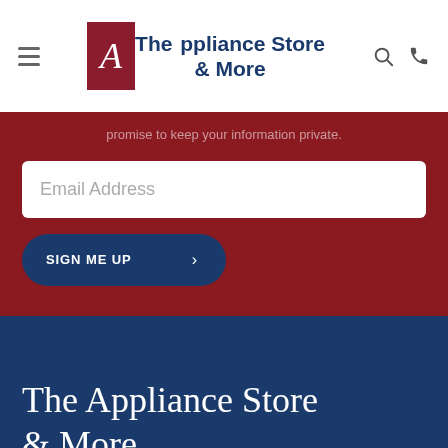The Appliance Store & More
promise to keep your information private.
Email Address
SIGN ME UP
The Appliance Store & More